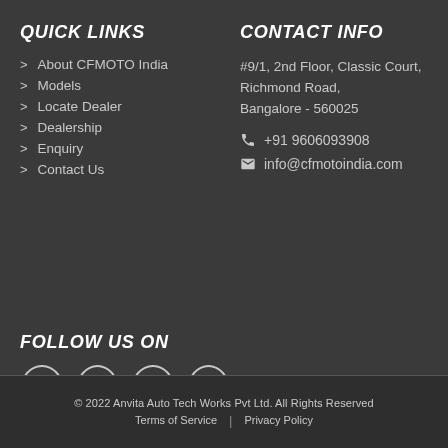QUICK LINKS
About CFMOTO India
Models
Locate Dealer
Dealership
Enquiry
Contact Us
CONTACT INFO
#9/1, 2nd Floor, Classic Court, Richmond Road, Bangalore - 560025
+91 9606093908
info@cfmotoindia.com
FOLLOW US ON
[Figure (illustration): Social media icons: Facebook, LinkedIn, YouTube, Instagram — each in a circle]
© 2022 Anvita Auto Tech Works Pvt Ltd. All Rights Reserved
Terms of Service | Privacy Policy